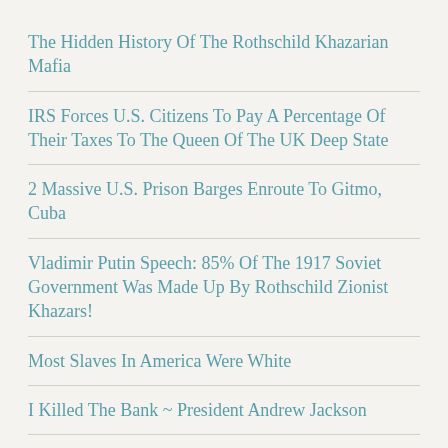The Hidden History Of The Rothschild Khazarian Mafia
IRS Forces U.S. Citizens To Pay A Percentage Of Their Taxes To The Queen Of The UK Deep State
2 Massive U.S. Prison Barges Enroute To Gitmo, Cuba
Vladimir Putin Speech: 85% Of The 1917 Soviet Government Was Made Up By Rothschild Zionist Khazars!
Most Slaves In America Were White
I Killed The Bank ~ President Andrew Jackson
When Leaders Decide To Be Puppets For The Rothschild Central Bankers